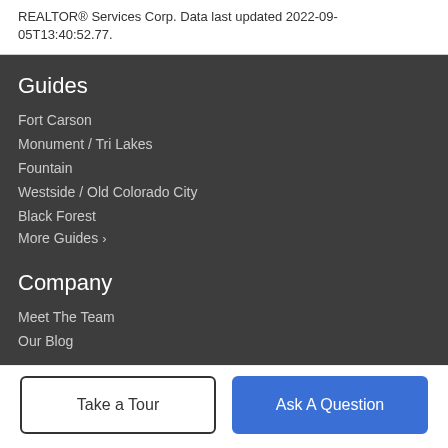REALTOR® Services Corp. Data last updated 2022-09-05T13:40:52.77.
Guides
Fort Carson
Monument / Tri Lakes
Fountain
Westside / Old Colorado City
Black Forest
More Guides ›
Company
Meet The Team
Our Blog
Take a Tour
Ask A Question
Resources